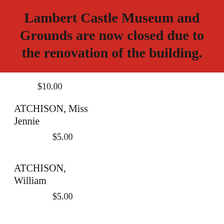Lambert Castle Museum and Grounds are now closed due to the renovation of the building.
$10.00
ATCHISON, Miss Jennie
$5.00
ATCHISON, William
$5.00